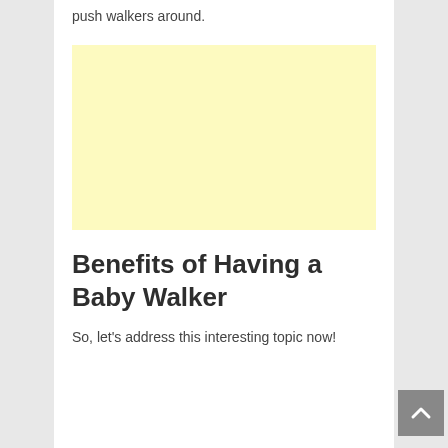push walkers around.
[Figure (other): Light yellow advertisement placeholder block]
Benefits of Having a Baby Walker
So, let's address this interesting topic now!